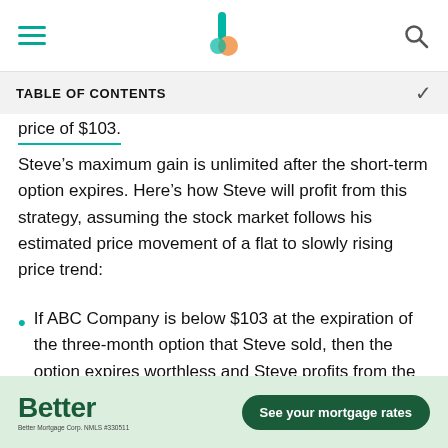TABLE OF CONTENTS
price of $103.
Steve’s maximum gain is unlimited after the short-term option expires. Here’s how Steve will profit from this strategy, assuming the stock market follows his estimated price movement of a flat to slowly rising price trend:
If ABC Company is below $103 at the expiration of the three-month option that Steve sold, then the option expires worthless and Steve profits from the premiums received.
[Figure (other): Better Mortgage advertisement banner with logo and 'See your mortgage rates' button]